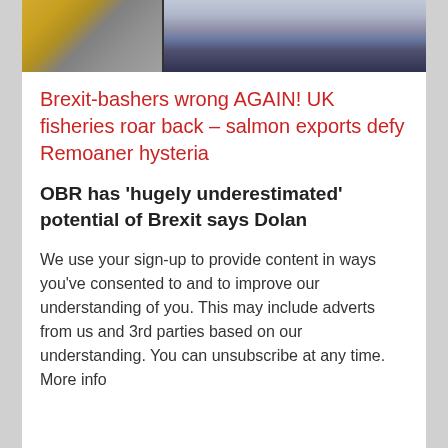[Figure (photo): Top portion of page showing a cropped photo: on the left a person in yellow/orange clothing, on the right a person in a grey suit with a pink/red patterned tie]
Brexit-bashers wrong AGAIN! UK fisheries roar back – salmon exports defy Remoaner hysteria
OBR has 'hugely underestimated' potential of Brexit says Dolan
We use your sign-up to provide content in ways you've consented to and to improve our understanding of you. This may include adverts from us and 3rd parties based on our understanding. You can unsubscribe at any time. More info